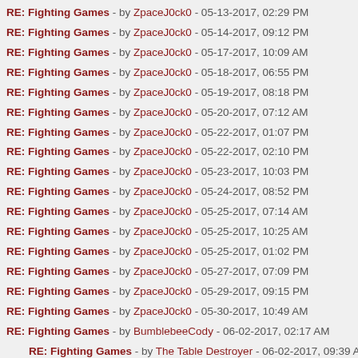RE: Fighting Games - by ZpaceJ0ck0 - 05-13-2017, 02:29 PM
RE: Fighting Games - by ZpaceJ0ck0 - 05-14-2017, 09:12 PM
RE: Fighting Games - by ZpaceJ0ck0 - 05-17-2017, 10:09 AM
RE: Fighting Games - by ZpaceJ0ck0 - 05-18-2017, 06:55 PM
RE: Fighting Games - by ZpaceJ0ck0 - 05-19-2017, 08:18 PM
RE: Fighting Games - by ZpaceJ0ck0 - 05-20-2017, 07:12 AM
RE: Fighting Games - by ZpaceJ0ck0 - 05-22-2017, 01:07 PM
RE: Fighting Games - by ZpaceJ0ck0 - 05-22-2017, 02:10 PM
RE: Fighting Games - by ZpaceJ0ck0 - 05-23-2017, 10:03 PM
RE: Fighting Games - by ZpaceJ0ck0 - 05-24-2017, 08:52 PM
RE: Fighting Games - by ZpaceJ0ck0 - 05-25-2017, 07:14 AM
RE: Fighting Games - by ZpaceJ0ck0 - 05-25-2017, 10:25 AM
RE: Fighting Games - by ZpaceJ0ck0 - 05-25-2017, 01:02 PM
RE: Fighting Games - by ZpaceJ0ck0 - 05-27-2017, 07:09 PM
RE: Fighting Games - by ZpaceJ0ck0 - 05-29-2017, 09:15 PM
RE: Fighting Games - by ZpaceJ0ck0 - 05-30-2017, 10:49 AM
RE: Fighting Games - by BumblebeeCody - 06-02-2017, 02:17 AM
RE: Fighting Games - by The Table Destroyer - 06-02-2017, 09:39 AM
RE: Fighting Games - by ZpaceJ0ck0 - 06-02-2017, 10:13 PM
RE: Fighting Games - by The Table Destroyer - 06-04-2017, 04:27 AM
RE: Fighting Games - by ZpaceJ0ck0 - 06-04-2017, 10:50 AM
RE: Fighting Games - by BumblebeeCody - 06-05-2017, 02:14 PM
RE: Fighting Games - by ZpaceJ0ck0 - 06-06-2017, 01:53 PM
RE: Fighting Games - by ZpaceJ0ck0 - 06-06-2017, 09:15 PM
RE: Fighting Games - by ZpaceJ0ck0 - 06-09-2017, 11:30 AM